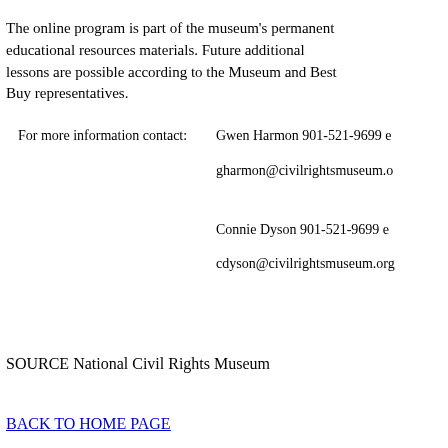The online program is part of the museum's permanent educational resources materials. Future additional lessons are possible according to the Museum and Best Buy representatives.
For more information contact:
Gwen Harmon 901-521-9699 e
gharmon@civilrightsmuseum.o
Connie Dyson 901-521-9699 e
cdyson@civilrightsmuseum.org
SOURCE National Civil Rights Museum
BACK TO HOME PAGE